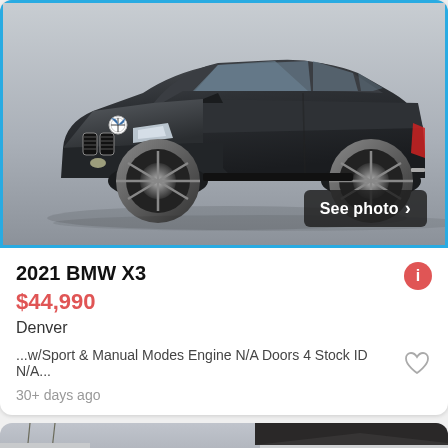[Figure (photo): 2021 BMW X3 dark grey SUV photographed from front-left angle against a neutral grey background, with CARFAX watermark at top. Blue border around the image. 'See photo >' button overlay in bottom-right corner.]
2021 BMW X3
$44,990
Denver
...w/Sport & Manual Modes Engine N/A Doors 4 Stock ID N/A...
30+ days ago
[Figure (photo): Partial view of a parking lot with multiple SUVs and a building with dark roof in the background, winter trees visible.]